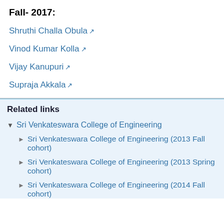Fall- 2017:
Shruthi Challa Obula ↗
Vinod Kumar Kolla ↗
Vijay Kanupuri ↗
Supraja Akkala ↗
Related links
▼ Sri Venkateswara College of Engineering
► Sri Venkateswara College of Engineering (2013 Fall cohort)
► Sri Venkateswara College of Engineering (2013 Spring cohort)
► Sri Venkateswara College of Engineering (2014 Fall cohort)